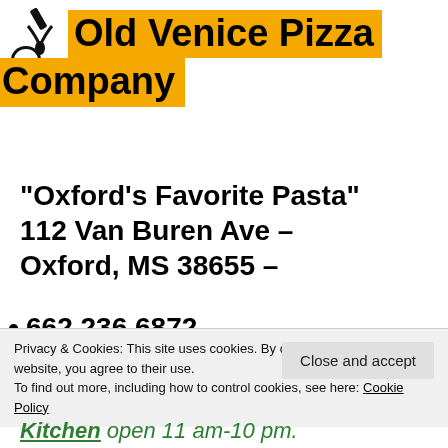[Figure (logo): Old Venice Pizza Company logo with a stylized pizza/sauce pouring icon and 'tLV' text in a circular badge]
Old Venice Pizza Company
“Oxford’s Favorite Pasta” 112 Van Buren Ave – Oxford, MS 38655 – 662 236 6872
Privacy & Cookies: This site uses cookies. By continuing to use this website, you agree to their use. To find out more, including how to control cookies, see here: Cookie Policy
Kitchen open 11 am-10 pm.